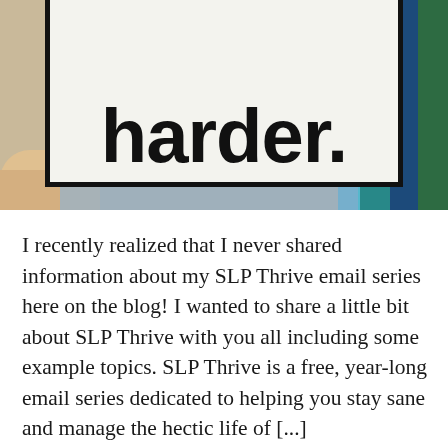[Figure (photo): A photo showing a hand holding a white sign/card with a thick black border. The card displays the word 'harder.' in large bold black text. Behind the card are colorful vertical strips (green, blue, teal) suggesting books or folders on a shelf. The lower left shows a tan/beige background with a partial hand visible.]
I recently realized that I never shared information about my SLP Thrive email series here on the blog! I wanted to share a little bit about SLP Thrive with you all including some example topics. SLP Thrive is a free, year-long email series dedicated to helping you stay sane and manage the hectic life of [...]